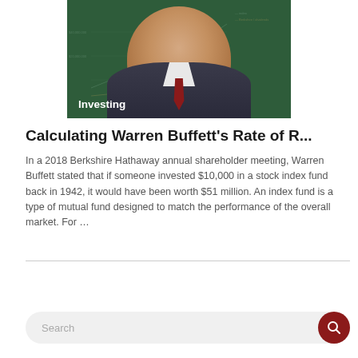[Figure (photo): Photo of Warren Buffett (elderly man with glasses, wearing suit and red tie) overlaid on a dark green background with a faint stock chart. A label 'Investing' appears in white text at the bottom left of the image.]
Calculating Warren Buffett's Rate of R...
In a 2018 Berkshire Hathaway annual shareholder meeting, Warren Buffett stated that if someone invested $10,000 in a stock index fund back in 1942, it would have been worth $51 million. An index fund is a type of mutual fund designed to match the performance of the overall market. For …